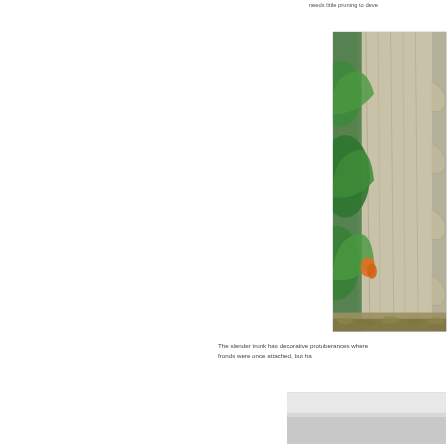needs little pruning to deve
[Figure (photo): Close-up photograph of a slender palm trunk showing decorative protuberances where fronds were once attached, with green tropical foliage and orange flower visible in background, and sandy/mossy ground at base.]
The slender trunk has decorative protuberances where fronds were once attached, but ha
[Figure (photo): Partially visible photo at bottom of page, showing a light gray/white subject.]